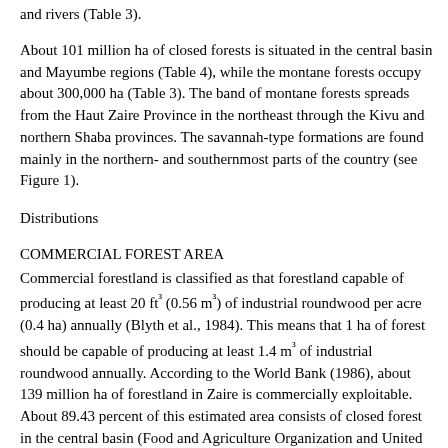and rivers (Table 3).
About 101 million ha of closed forests is situated in the central basin and Mayumbe regions (Table 4), while the montane forests occupy about 300,000 ha (Table 3). The band of montane forests spreads from the Haut Zaire Province in the northeast through the Kivu and northern Shaba provinces. The savannah-type formations are found mainly in the northern- and southernmost parts of the country (see Figure 1).
Distributions
COMMERCIAL FOREST AREA
Commercial forestland is classified as that forestland capable of producing at least 20 ft³ (0.56 m³) of industrial roundwood per acre (0.4 ha) annually (Blyth et al., 1984). This means that 1 ha of forest should be capable of producing at least 1.4 m³ of industrial roundwood annually. According to the World Bank (1986), about 139 million ha of forestland in Zaire is commercially exploitable. About 89.43 percent of this estimated area consists of closed forest in the central basin (Food and Agriculture Organization and United